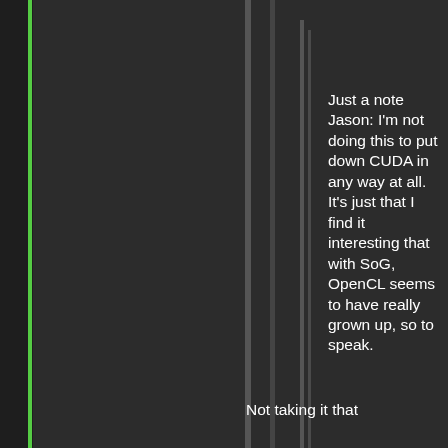Just a note Jason: I'm not doing this to put down CUDA in any way at all. It's just that I find it interesting that with SoG, OpenCL seems to have really grown up, so to speak.
Not taking it that